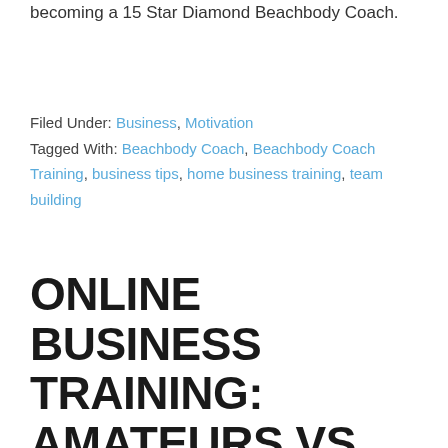becoming a 15 Star Diamond Beachbody Coach.
Filed Under: Business, Motivation
Tagged With: Beachbody Coach, Beachbody Coach Training, business tips, home business training, team building
ONLINE BUSINESS TRAINING: AMATEURS VS. PROFESSIONALS